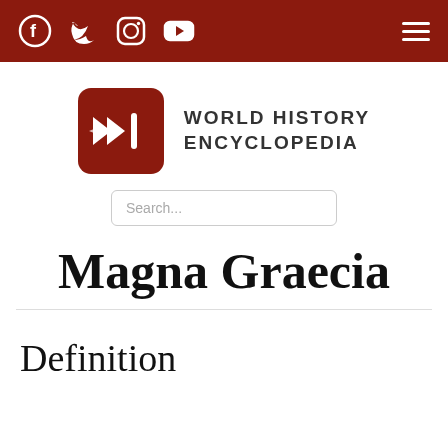World History Encyclopedia — navigation bar with social media icons and hamburger menu
[Figure (logo): World History Encyclopedia logo: red rounded square with stylized double-arrow and vertical bar symbol in white, next to text 'WORLD HISTORY ENCYCLOPEDIA']
Search...
Magna Graecia
Definition